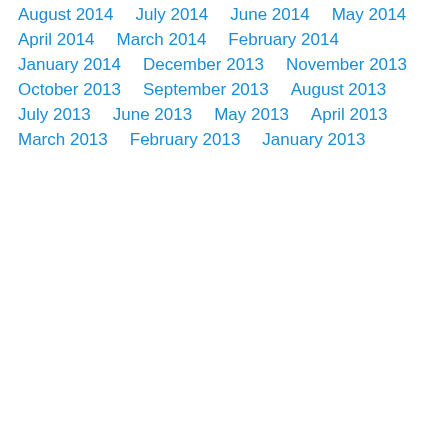August 2014
July 2014
June 2014
May 2014
April 2014
March 2014
February 2014
January 2014
December 2013
November 2013
October 2013
September 2013
August 2013
July 2013
June 2013
May 2013
April 2013
March 2013
February 2013
January 2013